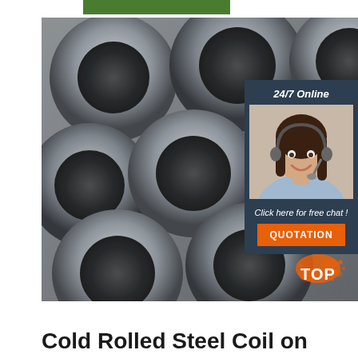[Figure (photo): Stacked steel tubes/pipes viewed from the end, showing circular cross-sections, in grey metallic tones]
[Figure (infographic): 24/7 online chat widget with dark blue-grey background, female customer service agent with headset, text 'Click here for free chat!' and orange QUOTATION button]
[Figure (logo): TOP logo with orange paint splash effect]
Cold Rolled Steel Coil on